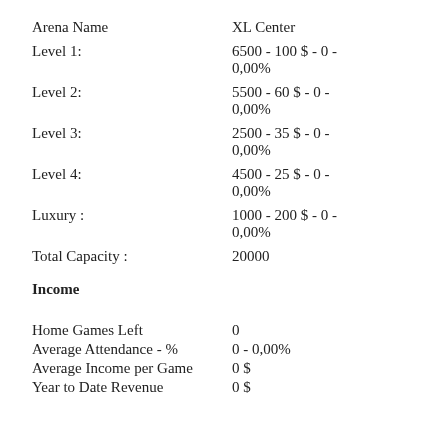Arena Name: XL Center
Level 1: 6500 - 100 $ - 0 - 0,00%
Level 2: 5500 - 60 $ - 0 - 0,00%
Level 3: 2500 - 35 $ - 0 - 0,00%
Level 4: 4500 - 25 $ - 0 - 0,00%
Luxury : 1000 - 200 $ - 0 - 0,00%
Total Capacity : 20000
Income
Home Games Left: 0
Average Attendance - %: 0 - 0,00%
Average Income per Game: 0 $
Year to Date Revenue: 0 $